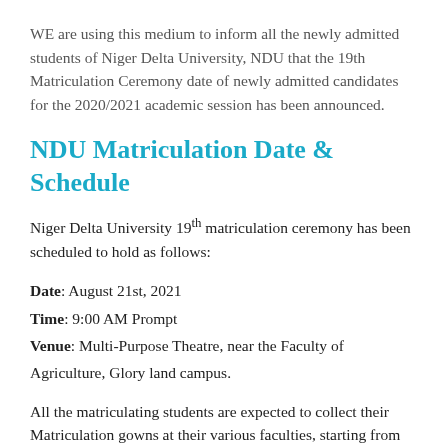WE are using this medium to inform all the newly admitted students of Niger Delta University, NDU that the 19th Matriculation Ceremony date of newly admitted candidates for the 2020/2021 academic session has been announced.
NDU Matriculation Date & Schedule
Niger Delta University 19th matriculation ceremony has been scheduled to hold as follows:
Date: August 21st, 2021
Time: 9:00 AM Prompt
Venue: Multi-Purpose Theatre, near the Faculty of Agriculture, Glory land campus.
All the matriculating students are expected to collect their Matriculation gowns at their various faculties, starting from Wednesday, August 19th